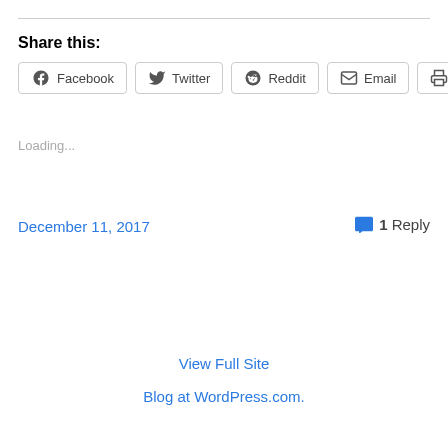Share this:
Facebook  Twitter  Reddit  Email  Print
Loading...
December 11, 2017
1 Reply
View Full Site
Blog at WordPress.com.